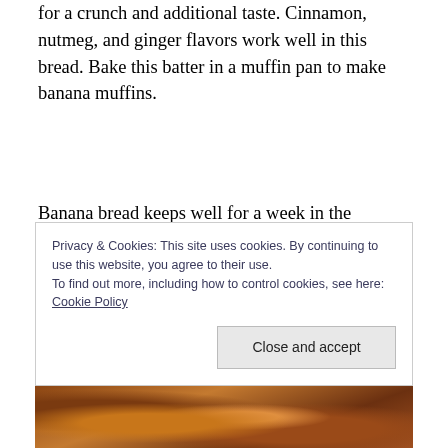for a crunch and additional taste. Cinnamon, nutmeg, and ginger flavors work well in this bread. Bake this batter in a muffin pan to make banana muffins.
Banana bread keeps well for a week in the refrigerator and for months in the freezer.  I will always come back to this basic banana bread recipe. It gives me greater freedom to add ingredients like nuts and dried fruit and make
Privacy & Cookies: This site uses cookies. By continuing to use this website, you agree to their use.
To find out more, including how to control cookies, see here: Cookie Policy
[Figure (photo): Partial view of food photo at the bottom of the page, showing baked goods in warm brown tones.]